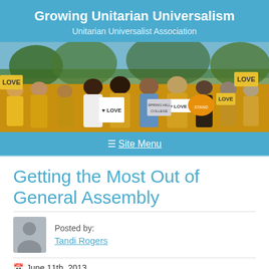Growing Unitarian Universalism
Unitarian Universalist Association
[Figure (photo): Group photo of people mostly wearing yellow shirts and holding signs that say LOVE at what appears to be an outdoor rally or demonstration.]
☰ Site Menu
Getting the Most Out of General Assembly
Posted by:
Tandi Rogers
📅 June 11th, 2013
📁 Associational